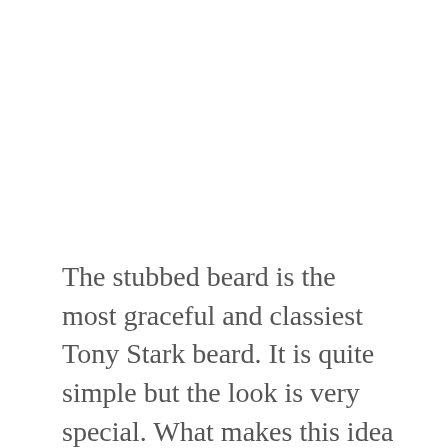The stubbed beard is the most graceful and classiest Tony Stark beard. It is quite simple but the look is very special. What makes this idea of beard unique is the combination of medium length with straight hair to create